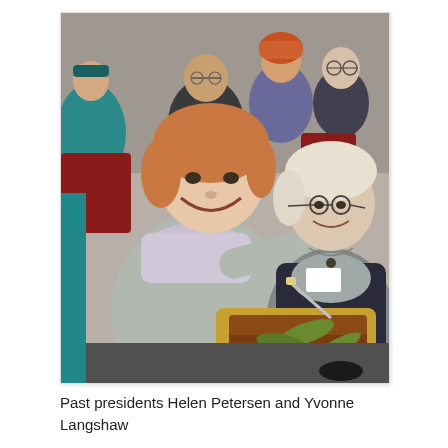[Figure (photo): Two women cutting a chocolate cake decorated with olive branches and the text 'STEP is 40' on a wooden board. Several elderly attendees are visible in the background, some wearing name badges, seated in chairs. The woman in the foreground wears a grey cardigan and floral scarf; the woman on the right wears a grey top and dark jacket with glasses.]
Past presidents Helen Petersen and Yvonne Langshaw